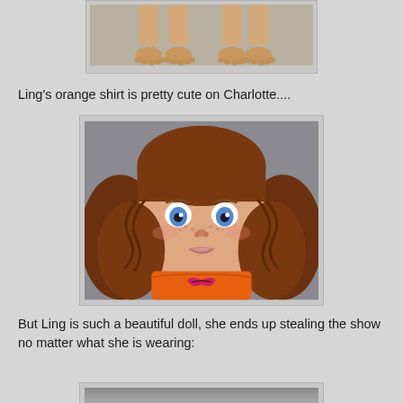[Figure (photo): Close-up photo of doll feet/legs from two dolls standing side by side on a gray surface]
Ling's orange shirt is pretty cute on Charlotte....
[Figure (photo): Photo of a girl doll with brown curly hair in pigtails, blue eyes, freckles, wearing an orange shirt with a butterfly design]
But Ling is such a beautiful doll, she ends up stealing the show no matter what she is wearing:
[Figure (photo): Partial photo of another doll visible at the bottom of the page]